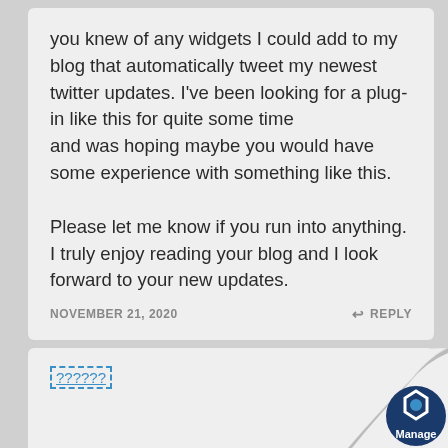you knew of any widgets I could add to my blog that automatically tweet my newest twitter updates. I've been looking for a plug-in like this for quite some time
and was hoping maybe you would have some experience with something like this.

Please let me know if you run into anything. I truly enjoy reading your blog and I look forward to your new updates.
NOVEMBER 21, 2020
↩ REPLY
??????